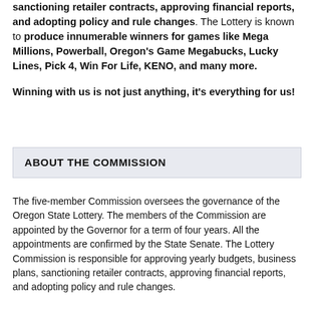sanctioning retailer contracts, approving financial reports, and adopting policy and rule changes. The Lottery is known to produce innumerable winners for games like Mega Millions, Powerball, Oregon's Game Megabucks, Lucky Lines, Pick 4, Win For Life, KENO, and many more.

Winning with us is not just anything, it's everything for us!
ABOUT THE COMMISSION
The five-member Commission oversees the governance of the Oregon State Lottery. The members of the Commission are appointed by the Governor for a term of four years. All the appointments are confirmed by the State Senate. The Lottery Commission is responsible for approving yearly budgets, business plans, sanctioning retailer contracts, approving financial reports, and adopting policy and rule changes.